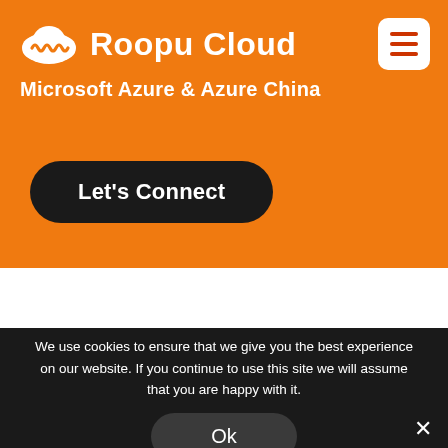Roopu Cloud
Microsoft Azure & Azure China
Let's Connect
We use cookies to ensure that we give you the best experience on our website. If you continue to use this site we will assume that you are happy with it.
Ok